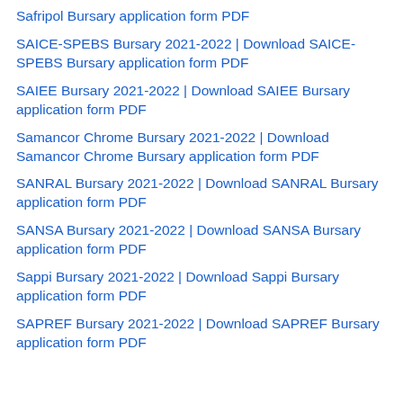Safripol Bursary application form PDF
SAICE-SPEBS Bursary 2021-2022 | Download SAICE-SPEBS Bursary application form PDF
SAIEE Bursary 2021-2022 | Download SAIEE Bursary application form PDF
Samancor Chrome Bursary 2021-2022 | Download Samancor Chrome Bursary application form PDF
SANRAL Bursary 2021-2022 | Download SANRAL Bursary application form PDF
SANSA Bursary 2021-2022 | Download SANSA Bursary application form PDF
Sappi Bursary 2021-2022 | Download Sappi Bursary application form PDF
SAPREF Bursary 2021-2022 | Download SAPREF Bursary application form PDF